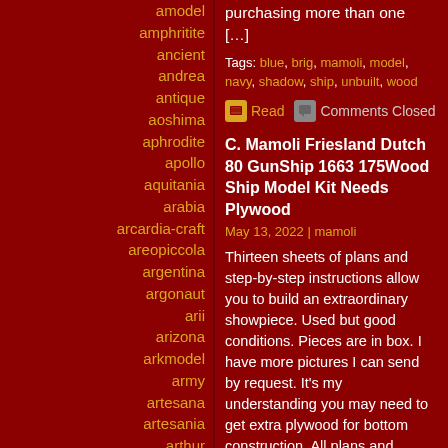amodel
amphritite
ancient
andrea
antique
aoshima
aphrodite
apollo
aquitania
arabia
arcardia-craft
areopiccola
argentina
argonaut
arii
arizona
arkmodel
army
artesana
artesania
arthur
artply
as-is
assembled
aston
purchasing more than one [...]
Tags: blue, brig, mamoli, model, navy, shadow, ship, unbuilt, wood
Read  Comments Closed
C. Mamoli Friesland Dutch 80 GunShip 1663 175Wood Ship Model Kit Needs Plywood
May 13, 2022 | mamoli
Thirteen sheets of plans and step-by-step instructions allow you to build an extraordinary showpiece. Used but good conditions. Pieces are in box. I have more pictures I can send by request. It's my understanding you may need to get extra plywood for bottom construction. All plans and instructions included. This item is in the...